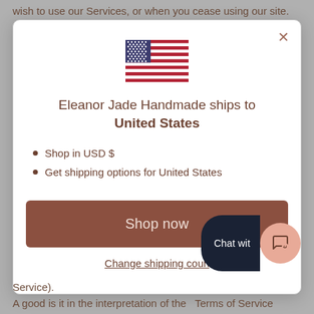wish to use our Services, or when you cease using our site. If in our sole judgment you fail, or we suspect that you have
[Figure (screenshot): Modal dialog for Eleanor Jade Handmade shipping destination. Shows a US flag SVG, title 'Eleanor Jade Handmade ships to United States', bullet points for Shop in USD $ and Get shipping options for United States, a brown Shop now button, and a Change shipping country link. An X close button is in the top right. A chat widget overlays the bottom right.]
Service).
A good is it in the interpretation of the Terms of Service